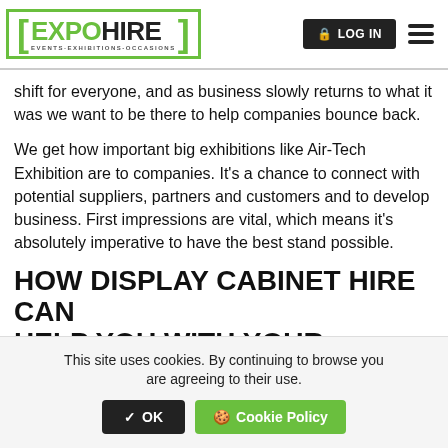EXPOHIRE EVENTS-EXHIBITIONS-OCCASIONS | LOG IN
shift for everyone, and as business slowly returns to what it was we want to be there to help companies bounce back.
We get how important big exhibitions like Air-Tech Exhibition are to companies. It's a chance to connect with potential suppliers, partners and customers and to develop business. First impressions are vital, which means it's absolutely imperative to have the best stand possible.
HOW DISPLAY CABINET HIRE CAN HELP YOU WITH YOUR EXHIBITION
This site uses cookies. By continuing to browse you are agreeing to their use. ✔ OK 🍪 Cookie Policy